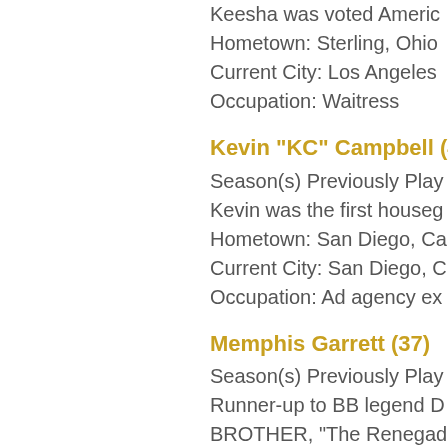Keesha was voted Americ...
Hometown: Sterling, Ohio
Current City: Los Angeles
Occupation: Waitress
Kevin "KC" Campbell (40...)
Season(s) Previously Play...
Kevin was the first houseg...
Hometown: San Diego, Ca...
Current City: San Diego, C...
Occupation: Ad agency ex...
Memphis Garrett (37)
Season(s) Previously Play...
Runner-up to BB legend D...
BROTHER, "The Renegad...
Hometown: Collierville, Te...
Current City: Ft. Lauderda...
Occupation: Restaurateur
Nicole Anthony (25)
Season(s) Previously Play...